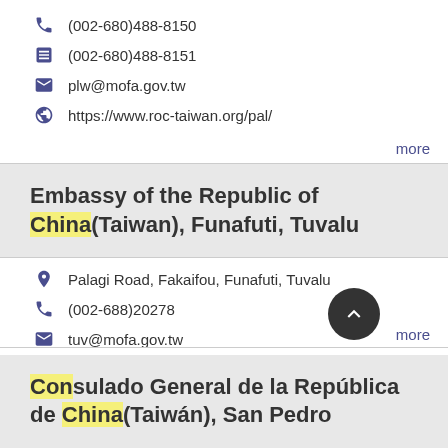(002-680)488-8150
(002-680)488-8151
plw@mofa.gov.tw
https://www.roc-taiwan.org/pal/
more
Embassy of the Republic of China(Taiwan), Funafuti, Tuvalu
Palagi Road, Fakaifou, Funafuti, Tuvalu
(002-688)20278
tuv@mofa.gov.tw
https://www.roc-taiwan.org/tv/
more
Consulado General de la República de China(Taiwán), San Pedro